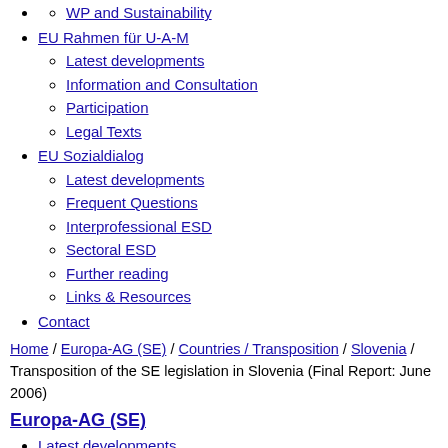WP and Sustainability
EU Rahmen für U-A-M
Latest developments
Information and Consultation
Participation
Legal Texts
EU Sozialdialog
Latest developments
Frequent Questions
Interprofessional ESD
Sectoral ESD
Further reading
Links & Resources
Contact
Home / Europa-AG (SE) / Countries / Transposition / Slovenia / Transposition of the SE legislation in Slovenia (Final Report: June 2006)
Europa-AG (SE)
Latest developments
Facts & Figures
SE Database (ECDB)
Frequent Questions